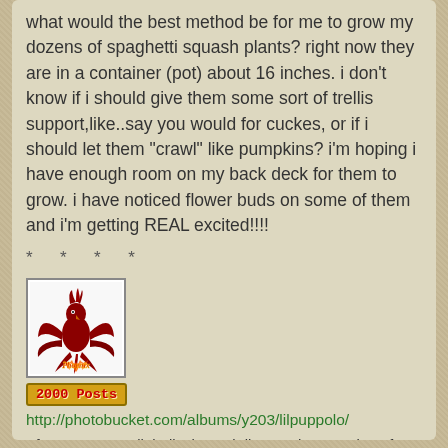what would the best method be for me to grow my dozens of spaghetti squash plants? right now they are in a container (pot) about 16 inches. i don't know if i should give them some sort of trellis support,like..say you would for cuckes, or if i should let them "crawl" like pumpkins? i'm hoping i have enough room on my back deck for them to grow. i have noticed flower buds on some of them and i'm getting REAL excited!!!!
* * * *
[Figure (illustration): Phoenix avatar image with a red phoenix bird and the text 'Phoenix' in a decorative style]
2000 Posts
http://photobucket.com/albums/y203/lilpuppolo/
"If you want to talk bollocks and discuss the meaning of life,you're better off downing a bottle of whiskey.That way you're drunk by the time you start to take yourself seriously"